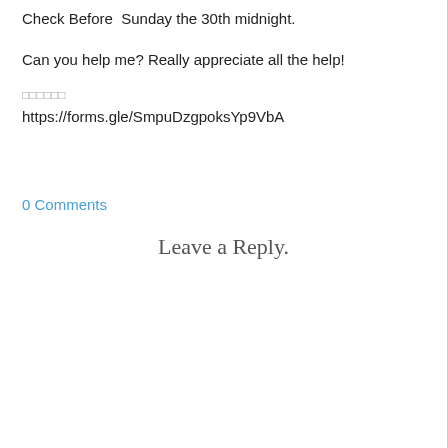Check Before Sunday the 30th midnight.
Can you help me? Really appreciate all the help!
oooooo
https://forms.gle/SmpuDzgpoksYp9VbA
0 Comments
Leave a Reply.